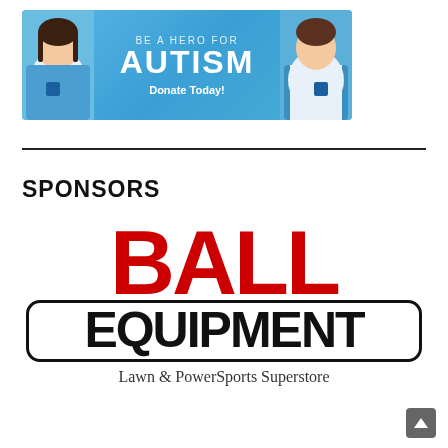[Figure (illustration): Autism Speaks charity banner with two children dressed as superheroes in blue capes, text reads BE A HERO FOR AUTISM, Donate Today!]
SPONSORS
[Figure (logo): Ball Equipment logo. Large red bold text BALL above black bold text EQUIPMENT inside a rounded rectangle border. Tagline: Lawn & PowerSports Superstore]